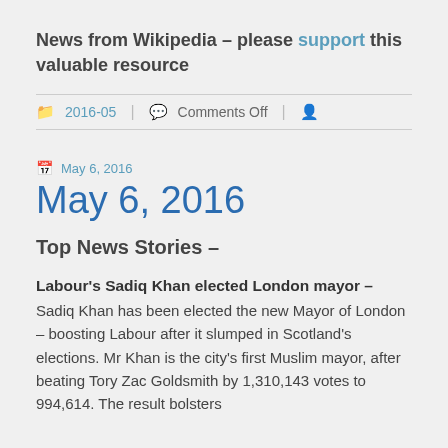News from Wikipedia – please support this valuable resource
2016-05  |  Comments Off  |  👤
May 6, 2016
May 6, 2016
Top News Stories –
Labour's Sadiq Khan elected London mayor – Sadiq Khan has been elected the new Mayor of London – boosting Labour after it slumped in Scotland's elections. Mr Khan is the city's first Muslim mayor, after beating Tory Zac Goldsmith by 1,310,143 votes to 994,614. The result bolsters